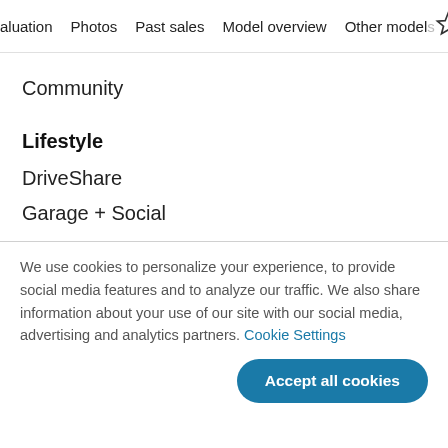aluation   Photos   Past sales   Model overview   Other models
Community
Lifestyle
DriveShare
Garage + Social
We use cookies to personalize your experience, to provide social media features and to analyze our traffic. We also share information about your use of our site with our social media, advertising and analytics partners. Cookie Settings
Accept all cookies